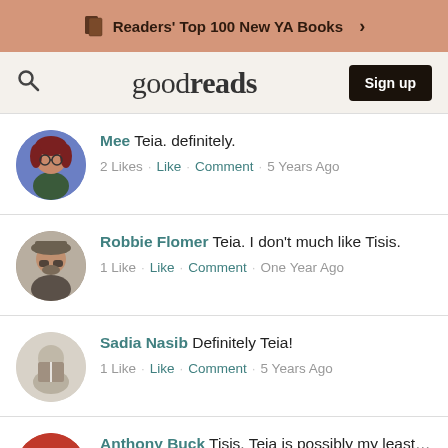Readers' Top 100 New YA Books
[Figure (screenshot): Goodreads navigation bar with search icon, goodreads logo, and Sign up button]
Mee Teia. definitely. 2 Likes · Like · Comment · 5 Years Ago
Robbie Flomer Teia. I don't much like Tisis. 1 Like · Like · Comment · One Year Ago
Sadia Nasib Definitely Teia! 1 Like · Like · Comment · 5 Years Ago
Anthony Buck Tisis. Teia is possibly my least favourite characte... Like · Comment · 3 Years Ago